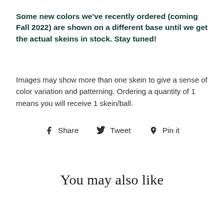Some new colors we've recently ordered (coming Fall 2022) are shown on a different base until we get the actual skeins in stock. Stay tuned!
Images may show more than one skein to give a sense of color variation and patterning. Ordering a quantity of 1 means you will receive 1 skein/ball.
Share  Tweet  Pin it
You may also like